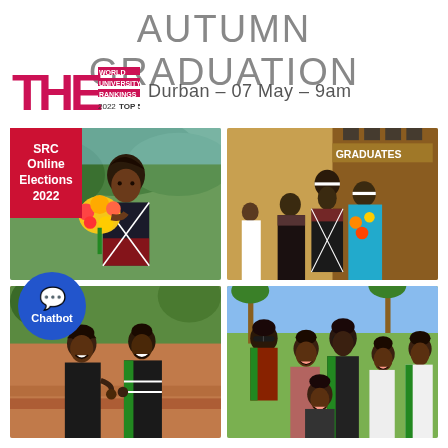AUTUMN GRADUATION
[Figure (logo): THE World University Rankings 2022 Top 500 logo]
Durban – 07 May – 9am
[Figure (photo): Graduate in traditional attire holding colorful bouquet of flowers outdoors]
[Figure (photo): Graduates in traditional and colorful attire standing outside building with GRADUATES sign]
[Figure (photo): Two graduates laughing and holding hands outdoors]
[Figure (photo): Group of graduates smiling outdoors]